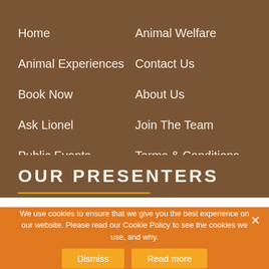Home
Animal Welfare
Animal Experiences
Contact Us
Book Now
About Us
Ask Lionel
Join The Team
Public Events
Terms & Conditions
Prices
OUR PRESENTERS
We use cookies to ensure that we give you the best experience on our website. Please read our Cookie Policy to see the cookies we use, and why.